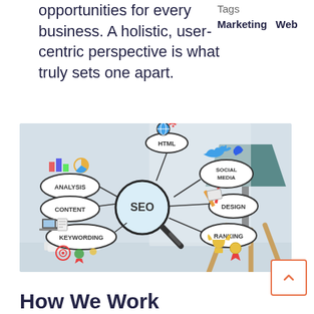opportunities for every business. A holistic, user-centric perspective is what truly sets one apart.
Tags
Marketing  Web
[Figure (illustration): SEO concept illustration showing a magnifying glass labeled 'SEO' in the center, surrounded by labeled bubbles: Analysis (with bar/pie chart icons), HTML (with globe/wifi icon), Social Media (with Twitter bird icon), Design (with pencil/ruler icons), Ranking (with trophy icon), Keywording (with target/award icons), Content (with laptop/document icons). A desk lamp is visible on the right side of the image.]
How We Work